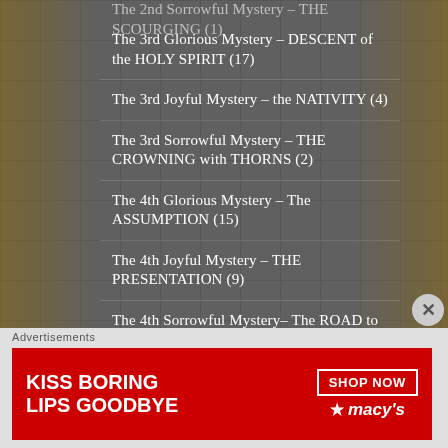The 3rd Glorious Mystery – DESCENT of the HOLY SPIRIT (17)
The 3rd Joyful Mystery – the NATIVITY (4)
The 3rd Sorrowful Mystery – THE CROWNING with THORNS (2)
The 4th Glorious Mystery – The ASSUMPTION (15)
The 4th Joyful Mystery – THE PRESENTATION (9)
The 4th Sorrowful Mystery– The ROAD to CALVARY (2)
The 5th Glorious Mystery – The CROWNING of the BLESSED VIRGIN (2)
The 5th Joyful Mystery – THE FINDING of JESUS in the...
Advertisements
[Figure (photo): Advertisement banner: KISS BORING LIPS GOODBYE – SHOP NOW – macys]